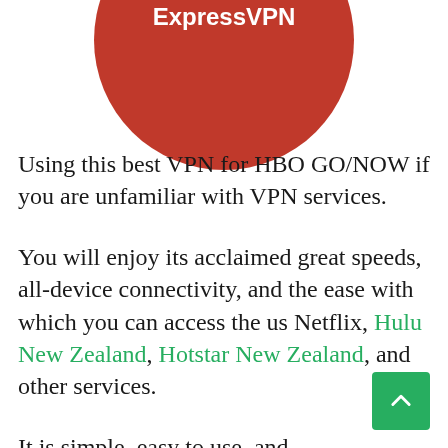[Figure (logo): ExpressVPN logo: red circle with white ExpressVPN text, partially cut off at top of page]
Using this best VPN for HBO GO/NOW if you are unfamiliar with VPN services.
You will enjoy its acclaimed great speeds, all-device connectivity, and the ease with which you can access the us Netflix, Hulu New Zealand, Hotstar New Zealand, and other services.
It is simple, easy to use, and